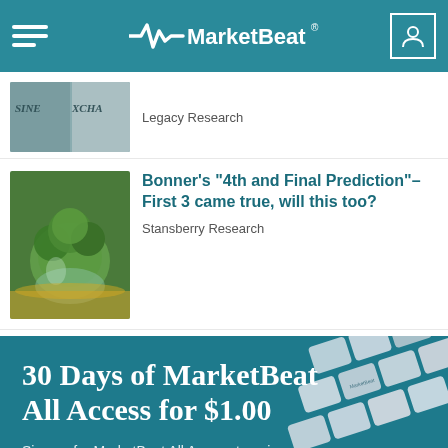MarketBeat
Legacy Research
Bonner’s “4th and Final Prediction”–First 3 came true, will this too?
Stansberry Research
30 Days of MarketBeat All Access for $1.00
Sign up for MarketBeat All Access to gain access to MarketBeat’s full suite of research tools: